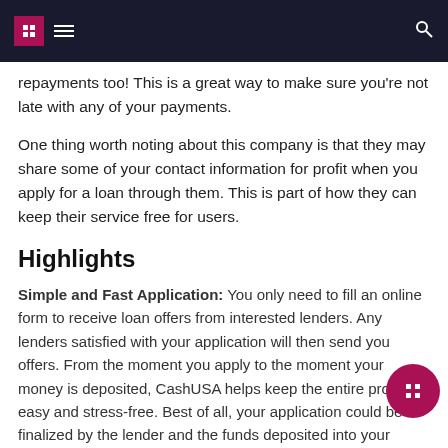Navigation header with menu icon and search icon
repayments too! This is a great way to make sure you’re not late with any of your payments.
One thing worth noting about this company is that they may share some of your contact information for profit when you apply for a loan through them. This is part of how they can keep their service free for users.
Highlights
Simple and Fast Application: You only need to fill an online form to receive loan offers from interested lenders. Any lenders satisfied with your application will then send you offers. From the moment you apply to the moment your money is deposited, CashUSA helps keep the entire process easy and stress-free. Best of all, your application could be finalized by the lender and the funds deposited into your checking bank account by the next business day.